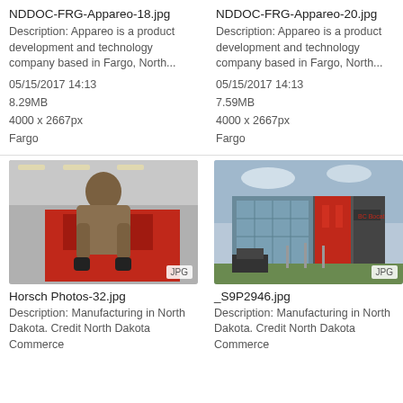NDDOC-FRG-Appareo-18.jpg
Description: Appareo is a product development and technology company based in Fargo, North...
05/15/2017 14:13
8.29MB
4000 x 2667px
Fargo
NDDOC-FRG-Appareo-20.jpg
Description: Appareo is a product development and technology company based in Fargo, North...
05/15/2017 14:13
7.59MB
4000 x 2667px
Fargo
[Figure (photo): Man in grey shirt working on red industrial machinery, wearing black gloves. JPG badge visible.]
Horsch Photos-32.jpg
Description: Manufacturing in North Dakota. Credit North Dakota Commerce
[Figure (photo): Modern industrial building with glass facade and red panels, with construction equipment in foreground. JPG badge visible.]
_S9P2946.jpg
Description: Manufacturing in North Dakota. Credit North Dakota Commerce